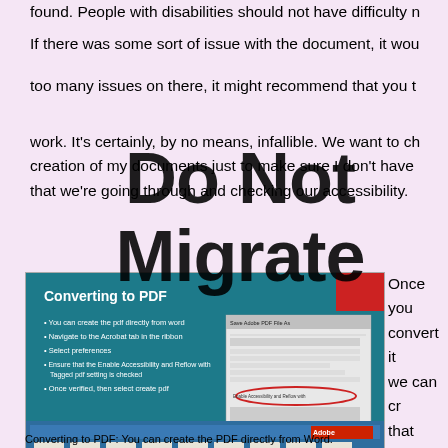found. People with disabilities should not have difficulty n[avigating...]

If there was some sort of issue with the document, it wou[ld...] too many issues on there, it might recommend that you t[o...] work. It's certainly, by no means, infallible. We want to ch[eck the] creation of my documents just to make sure I don't have [issues] that we're going through and checking our accessibility.
[Figure (screenshot): Slide screenshot showing 'Converting to PDF' with bullet points about creating PDF directly from Word, navigating to Acrobat tab in ribbon, selecting preferences, ensuring Enable Accessibility and Reflow with Tagged pdf setting is checked, and once verified then select create pdf. Shows a dialog window screenshot with an item circled in red.]
Converting to PDF: You can create the PDF directly from Word.
Once you[r document is complete,] convert it [to PDF and] we can cr[eate...] that Acro[bat...] what we w[ant...] few things[...]